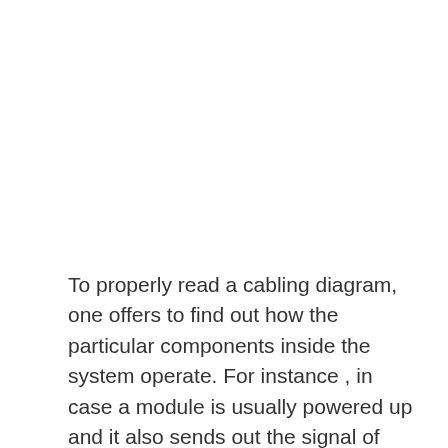To properly read a cabling diagram, one offers to find out how the particular components inside the system operate. For instance , in case a module is usually powered up and it also sends out the signal of fifty percent the voltage in addition to the technician does not know this, he'd think he has a challenge, as he would expect a 12V signal. Next diagrams is pretty simple, but making use of it inside the scope of how the system operates is a different matter. My most